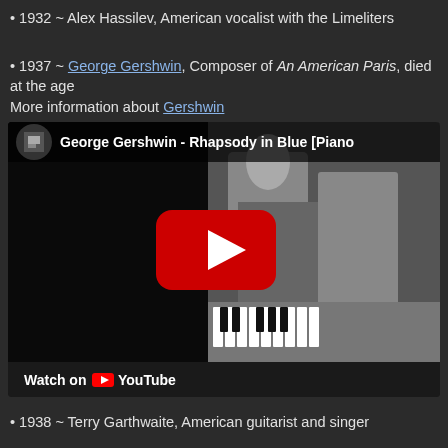• 1932 ~ Alex Hassilev, American vocalist with the Limeliters
• 1937 ~ George Gershwin, Composer of An American Paris, died at the age
More information about Gershwin
[Figure (screenshot): YouTube video embed showing George Gershwin - Rhapsody in Blue [Piano] with a black-and-white photo of a man at a piano, a red YouTube play button overlay, and a 'Watch on YouTube' bar at the bottom.]
• 1938 ~ Terry Garthwaite, American guitarist and singer